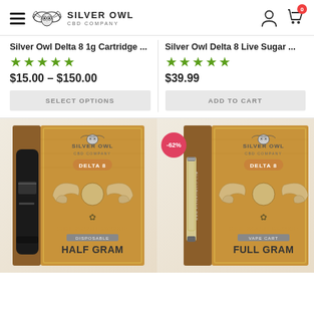Silver Owl CBD Company
Silver Owl Delta 8 1g Cartridge ...
★★★★★
$15.00 – $150.00
SELECT OPTIONS
Silver Owl Delta 8 Live Sugar ...
★★★★★
$39.99
ADD TO CART
[Figure (photo): Silver Owl Delta 8 Girl Scout Cookie Disposable Half Gram vape device product packaging — brown and gold box with owl logo, angel wings, and black disposable vape device]
[Figure (photo): Silver Owl Delta 8 Girl Scout Cookie Vape Cart Full Gram product packaging — brown and gold box with owl logo, angel wings, and vape cartridge. Has -62% discount badge.]